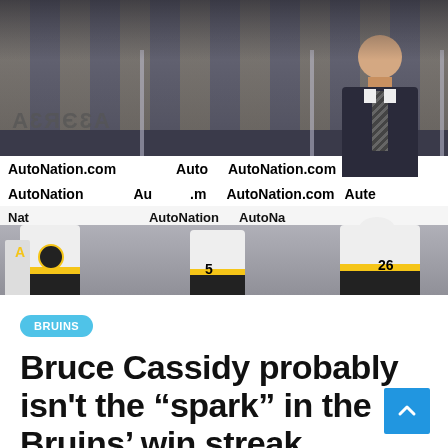[Figure (photo): Boston Bruins coach Bruce Cassidy standing behind the bench watching players, with AutoNation.com advertising boards visible behind him, and Bruins players in white jerseys seated on the bench in the foreground.]
BRUINS
Bruce Cassidy probably isn't the “spark” in the Bruins' win streak